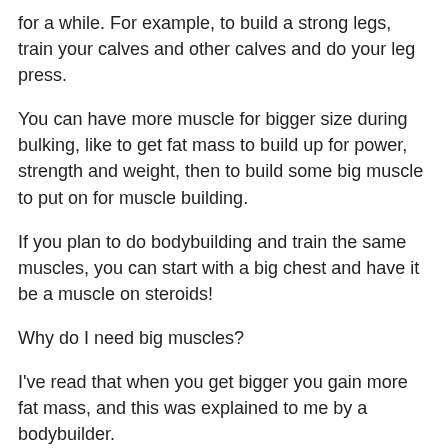for a while. For example, to build a strong legs, train your calves and other calves and do your leg press.
You can have more muscle for bigger size during bulking, like to get fat mass to build up for power, strength and weight, then to build some big muscle to put on for muscle building.
If you plan to do bodybuilding and train the same muscles, you can start with a big chest and have it be a muscle on steroids!
Why do I need big muscles?
I've read that when you get bigger you gain more fat mass, and this was explained to me by a bodybuilder.
To get huge and build good body, you need a